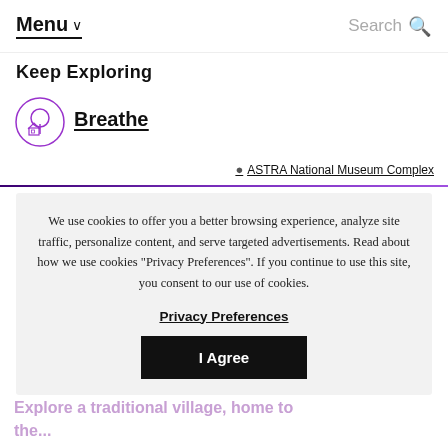Menu ∨   Search 🔍
Keep Exploring
[Figure (logo): Breathe logo: circular icon with tree and house illustration in purple outline]
Breathe
📍 ASTRA National Museum Complex
We use cookies to offer you a better browsing experience, analyze site traffic, personalize content, and serve targeted advertisements. Read about how we use cookies "Privacy Preferences". If you continue to use this site, you consent to our use of cookies.
Privacy Preferences
I Agree
Explore a traditional village, home to the...